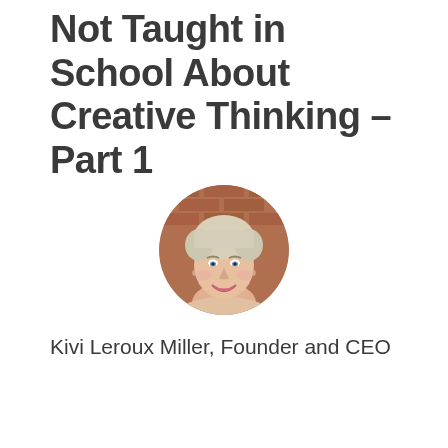Not Taught in School About Creative Thinking – Part 1
[Figure (photo): Circular headshot photo of a smiling woman with short blonde/white hair, against a brick background]
Kivi Leroux Miller, Founder and CEO